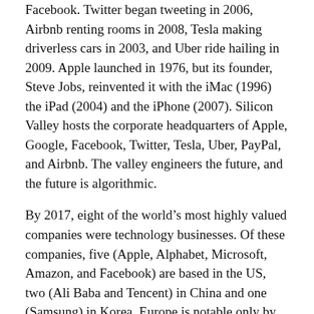Facebook. Twitter began tweeting in 2006, Airbnb renting rooms in 2008, Tesla making driverless cars in 2003, and Uber ride hailing in 2009. Apple launched in 1976, but its founder, Steve Jobs, reinvented it with the iMac (1996) the iPad (2004) and the iPhone (2007). Silicon Valley hosts the corporate headquarters of Apple, Google, Facebook, Twitter, Tesla, Uber, PayPal, and Airbnb. The valley engineers the future, and the future is algorithmic.
By 2017, eight of the world’s most highly valued companies were technology businesses. Of these companies, five (Apple, Alphabet, Microsoft, Amazon, and Facebook) are based in the US, two (Ali Baba and Tencent) in China and one (Samsung) in Korea. Europe is notable only by its absence. The techtopians assume they are ‘the solution, not the problem’. They want ‘one global community’, but to build it, they must first ‘disrupt’ the old.²² What does disruption involve?